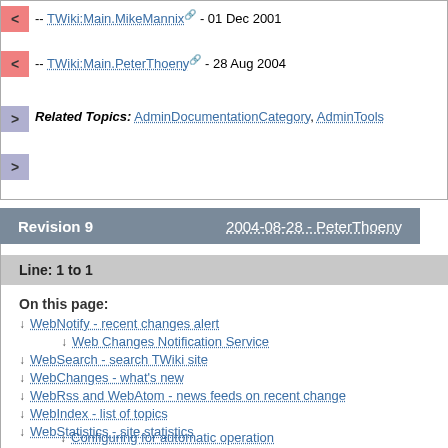< -- TWiki:Main.MikeMannix - 01 Dec 2001
< -- TWiki:Main.PeterThoeny - 28 Aug 2004
> Related Topics: AdminDocumentationCategory, AdminTools
Revision 9   2004-08-28 - PeterThoeny
Line: 1 to 1
On this page:
↓ WebNotify - recent changes alert
↓ Web Changes Notification Service
↓ WebSearch - search TWiki site
↓ WebChanges - what's new
↓ WebRss and WebAtom - news feeds on recent changes
↓ WebIndex - list of topics
↓ WebStatistics - site statistics
↓ Configuring for automatic operation